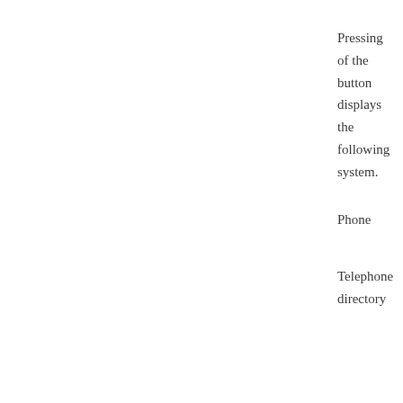Pressing of the button displays the following system.
Phone
Telephone directory